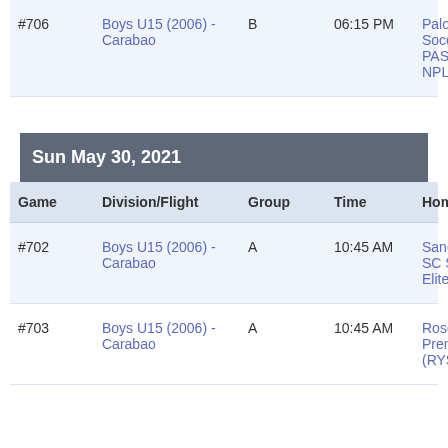| Game | Division/Flight | Group | Time | Home Team |
| --- | --- | --- | --- | --- |
| #706 | Boys U15 (2006) - Carabao | B | 06:15 PM | Palo Alto Soccer Cl PASC 06B Blue NPL |
Sun May 30, 2021
| Game | Division/Flight | Group | Time | Home Team |
| --- | --- | --- | --- | --- |
| #702 | Boys U15 (2006) - Carabao | A | 10:45 AM | Sand and Surf SC SSSCB06 Elite |
| #703 | Boys U15 (2006) - Carabao | A | 10:45 AM | Roseville Premier (RYSC) |